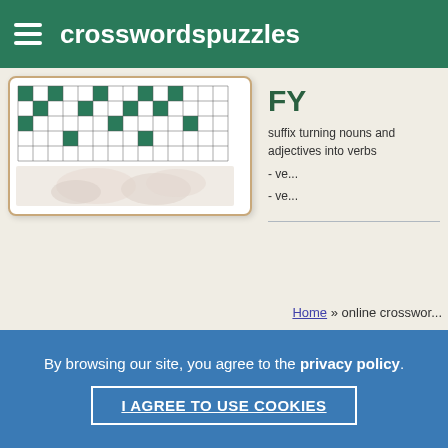crosswordspuzzles
[Figure (illustration): Crossword puzzle grid with black and white squares, with a photo of a cat below it, inside a card]
FY
suffix turning nouns and adjectives into verbs
- ve...
- ve...
Home » online crosswor...
By browsing our site, you agree to the privacy policy.
I AGREE TO USE COOKIES